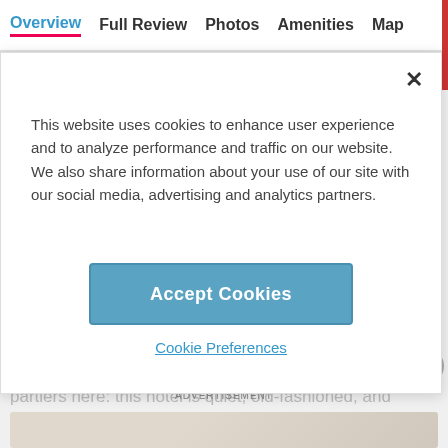Overview  Full Review  Photos  Amenities  Map
This website uses cookies to enhance user experience and to analyze performance and traffic on our website. We also share information about your use of our site with our social media, advertising and analytics partners.
Accept Cookies
Cookie Preferences
No mood lighting, techno music, or boisterous partiers here: this hotel is quiet, old-fashioned, and classy
ADVERTISEMENT
[Figure (photo): Hotel photo strip at the bottom of the page]